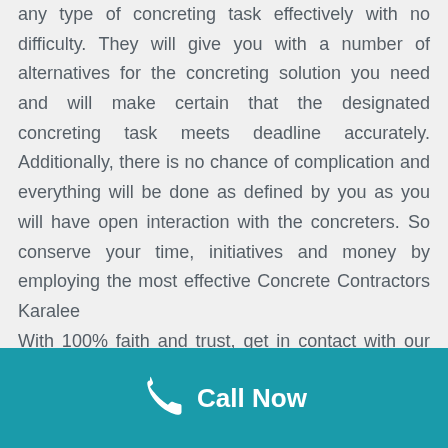concreters have in-depth expertise and can achieve any type of concreting task effectively with no difficulty. They will give you with a number of alternatives for the concreting solution you need and will make certain that the designated concreting task meets deadline accurately. Additionally, there is no chance of complication and everything will be done as defined by you as you will have open interaction with the concreters. So conserve your time, initiatives and money by employing the most effective Concrete Contractors Karalee

With 100% faith and trust, get in contact with our the Karalee Concreters at Concreting Brisbane
Call Now